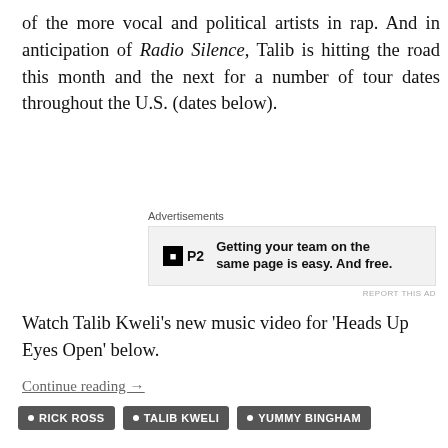of the more vocal and political artists in rap. And in anticipation of Radio Silence, Talib is hitting the road this month and the next for a number of tour dates throughout the U.S. (dates below).
[Figure (other): Advertisement banner for P2 product with tagline 'Getting your team on the same page is easy. And free.']
Watch Talib Kweli's new music video for 'Heads Up Eyes Open' below.
Continue reading →
RICK ROSS
TALIB KWELI
YUMMY BINGHAM